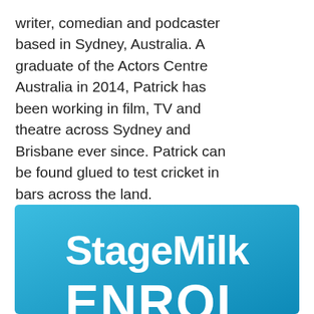writer, comedian and podcaster based in Sydney, Australia. A graduate of the Actors Centre Australia in 2014, Patrick has been working in film, TV and theatre across Sydney and Brisbane ever since. Patrick can be found glued to test cricket in bars across the land.
[Figure (logo): StageMilk logo on a blue gradient background, with 'StageMilk' in large bold white text and 'ENROL' partially visible at the bottom in large bold white text]